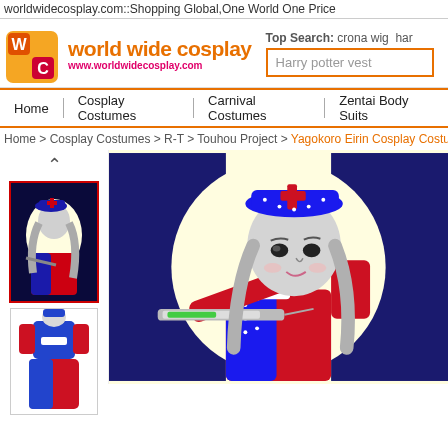worldwidecosplay.com::Shopping Global,One World One Price
[Figure (logo): World Wide Cosplay logo with orange cube icon showing W and C letters, orange text 'world wide cosplay' and red URL www.worldwidecosplay.com]
Top Search: crona wig har
Harry potter vest
Home | Cosplay Costumes | Carnival Costumes | Zentai Body Suits
Home > Cosplay Costumes > R-T > Touhou Project > Yagokoro Eirin Cosplay Costume from
[Figure (photo): Small thumbnail image of Yagokoro Eirin cosplay costume - anime character in red and blue nurse outfit, selected with red border]
[Figure (photo): Small thumbnail image of the actual cosplay costume dress in red and blue]
[Figure (illustration): Large anime-style illustration of Yagokoro Eirin character in nurse outfit holding a syringe, wearing blue hat with red cross, grey hair, blue and red dress on yellow circular background]